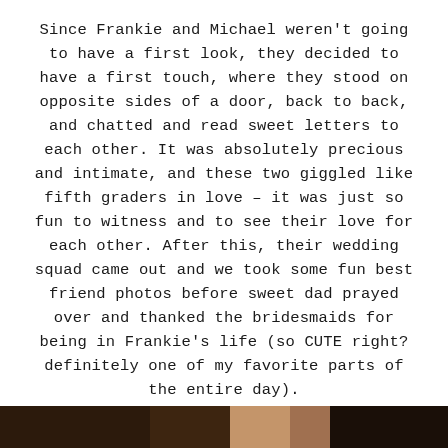Since Frankie and Michael weren't going to have a first look, they decided to have a first touch, where they stood on opposite sides of a door, back to back, and chatted and read sweet letters to each other. It was absolutely precious and intimate, and these two giggled like fifth graders in love – it was just so fun to witness and to see their love for each other. After this, their wedding squad came out and we took some fun best friend photos before sweet dad prayed over and thanked the bridesmaids for being in Frankie's life (so CUTE right? definitely one of my favorite parts of the entire day).
[Figure (photo): Bottom strip showing a partial photo, dark tones, appears to be a wedding scene]